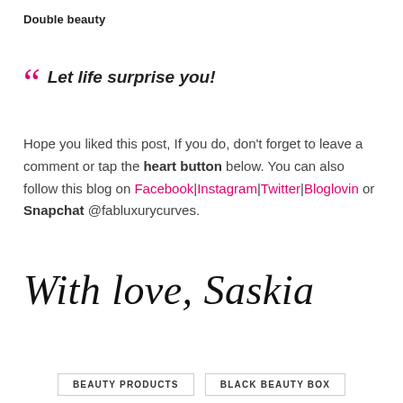Double beauty
Let life surprise you!
Hope you liked this post, If you do, don't forget to leave a comment or tap the heart button below. You can also follow this blog on Facebook|Instagram|Twitter|Bloglovin or Snapchat @fabluxurycurves.
[Figure (other): Handwritten cursive signature reading 'With love, Saskia']
BEAUTY PRODUCTS
BLACK BEAUTY BOX